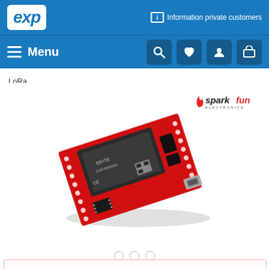EXP — Information private customers — Menu — Search, Wishlist, Account, Cart icons
LoRa
[Figure (photo): SparkFun Electronics red PCB development board with ESP32 module and LoRa radio, shown at an angle. The board has a micro USB connector, various ICs, and a grid of through-holes along the edges.]
sparkfun electronics logo